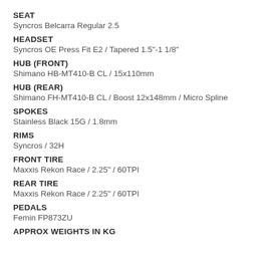SEAT
Syncros Belcarra Regular 2.5
HEADSET
Syncros OE Press Fit E2 / Tapered 1.5"-1 1/8"
HUB (FRONT)
Shimano HB-MT410-B CL / 15x110mm
HUB (REAR)
Shimano FH-MT410-B CL / Boost 12x148mm / Micro Spline
SPOKES
Stainless Black 15G / 1.8mm
RIMS
Syncros / 32H
FRONT TIRE
Maxxis Rekon Race / 2.25" / 60TPI
REAR TIRE
Maxxis Rekon Race / 2.25" / 60TPI
PEDALS
Femin FP873ZU
APPROX WEIGHTS IN KG